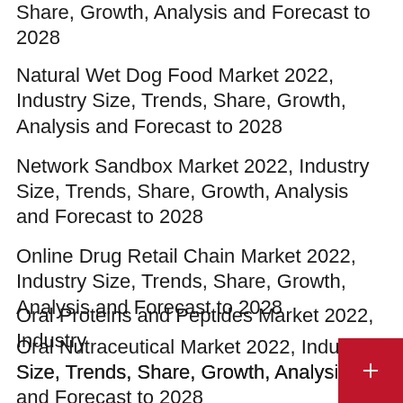Share, Growth, Analysis and Forecast to 2028
Natural Wet Dog Food Market 2022, Industry Size, Trends, Share, Growth, Analysis and Forecast to 2028
Network Sandbox Market 2022, Industry Size, Trends, Share, Growth, Analysis and Forecast to 2028
Online Drug Retail Chain Market 2022, Industry Size, Trends, Share, Growth, Analysis and Forecast to 2028
Oral Nutraceutical Market 2022, Industry Size, Trends, Share, Growth, Analysis and Forecast to 2028
Oral Proteins and Peptides Market 2022, Industry Size, Trends, Share, Growth, Analysis and Forecast